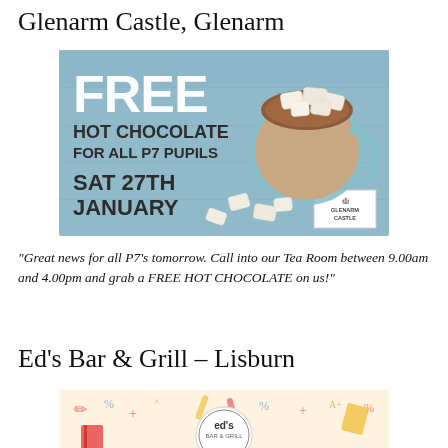Glenarm Castle, Glenarm
[Figure (photo): Advertisement for Glenarm Castle offering free hot chocolate for all P7 pupils on Sat 27th January, with image of hot chocolate mug with marshmallows and scattered marshmallows on a blue wooden background]
“Great news for all P7’s tomorrow. Call into our Tea Room between 9.00am and 4.00pm and grab a FREE HOT CHOCOLATE on us!”
Ed’s Bar & Grill – Lisburn
[Figure (photo): Advertisement for Ed's Bar & Grill with cartoon children, school supplies background, text reading GOOD LUCK ON YOUR TRANSFER RESULTS!!! KIDS EAT FREE]